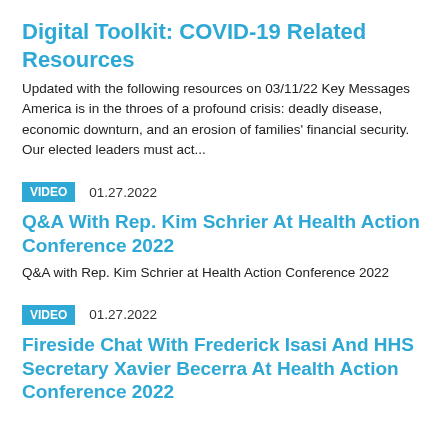Digital Toolkit: COVID-19 Related Resources
Updated with the following resources on 03/11/22 Key Messages America is in the throes of a profound crisis: deadly disease, economic downturn, and an erosion of families' financial security. Our elected leaders must act...
VIDEO   01.27.2022
Q&A With Rep. Kim Schrier At Health Action Conference 2022
Q&A with Rep. Kim Schrier at Health Action Conference 2022
VIDEO   01.27.2022
Fireside Chat With Frederick Isasi And HHS Secretary Xavier Becerra At Health Action Conference 2022